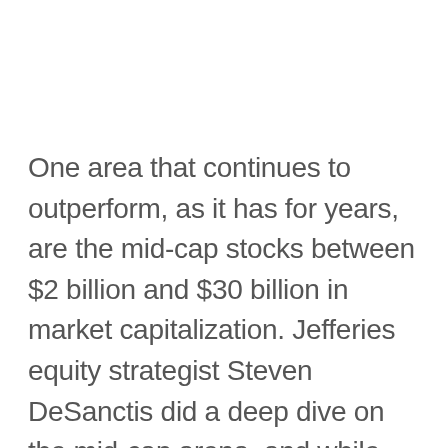One area that continues to outperform, as it has for years, are the mid-cap stocks between $2 billion and $30 billion in market capitalization. Jefferies equity strategist Steven DeSanctis did a deep dive on the mid-cap arena, and while flatly stating that many are very expensive, as small and large-cap managers have been buyers as well, he does think there are some great mid-cap companies on the Jefferies Franchise List of